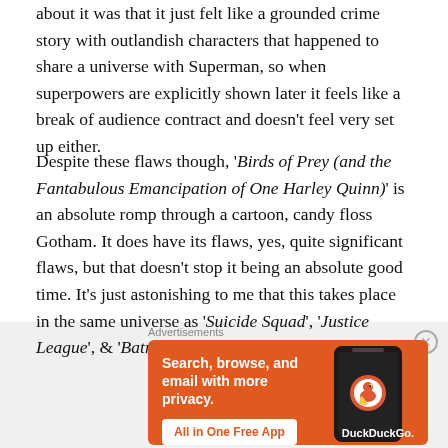about it was that it just felt like a grounded crime story with outlandish characters that happened to share a universe with Superman, so when superpowers are explicitly shown later it feels like a break of audience contract and doesn't feel very set up either.
Despite these flaws though, 'Birds of Prey (and the Fantabulous Emancipation of One Harley Quinn)' is an absolute romp through a cartoon, candy floss Gotham. It does have its flaws, yes, quite significant flaws, but that doesn't stop it being an absolute good time. It's just astonishing to me that this takes place in the same universe as 'Suicide Squad', 'Justice League', & 'Batman Vs Superman: Dawn of Justice'.
Advertisements
[Figure (other): DuckDuckGo advertisement banner: orange background with text 'Search, browse, and email with more privacy. All in One Free App' and a phone image with DuckDuckGo logo.]